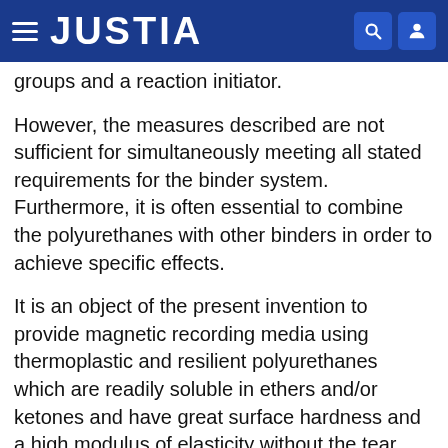JUSTIA
groups and a reaction initiator.
However, the measures described are not sufficient for simultaneously meeting all stated requirements for the binder system. Furthermore, it is often essential to combine the polyurethanes with other binders in order to achieve specific effects.
It is an object of the present invention to provide magnetic recording media using thermoplastic and resilient polyurethanes which are readily soluble in ethers and/or ketones and have great surface hardness and a high modulus of elasticity without the tear strength and extensibility being adversely affected as a result. Furthermore, the layer should have good adhesion to the substrate. This high mechanical strength should also be retained at relatively high temperatures. It is a further object of the present